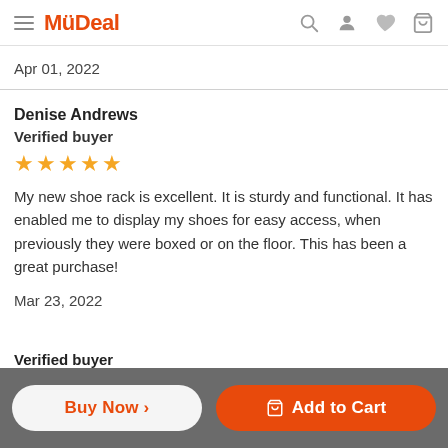MyDeal
Apr 01, 2022
Denise Andrews
Verified buyer
★★★★★
My new shoe rack is excellent. It is sturdy and functional. It has enabled me to display my shoes for easy access, when previously they were boxed or on the floor. This has been a great purchase!
Mar 23, 2022
Verified buyer